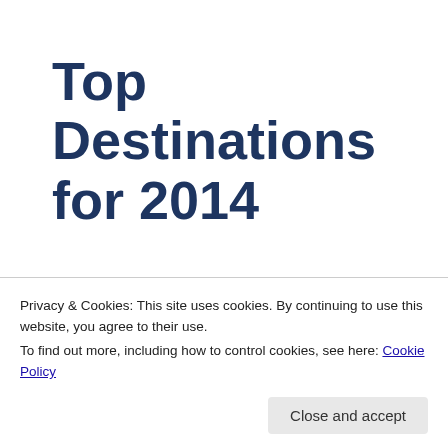Top Destinations for 2014
From Burma’s Buddhist temples to the blazing beaches of Brazil, here are my top picks for this year’s hottest holidays.
Privacy & Cookies: This site uses cookies. By continuing to use this website, you agree to their use.
To find out more, including how to control cookies, see here: Cookie Policy
Close and accept